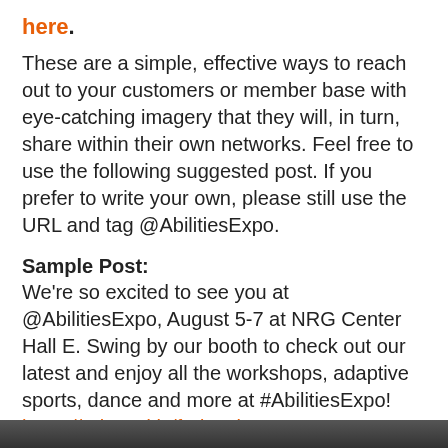here.
These are a simple, effective ways to reach out to your customers or member base with eye-catching imagery that they will, in turn, share within their own networks. Feel free to use the following suggested post. If you prefer to write your own, please still use the URL and tag @AbilitiesExpo.
Sample Post:
We're so excited to see you at @AbilitiesExpo, August 5-7 at NRG Center Hall E. Swing by our booth to check out our latest and enjoy all the workshops, adaptive sports, dance and more at #AbilitiesExpo! https://rebrand.ly/f8dza3j
Image:
[Figure (photo): Dark/black image strip at bottom of page]